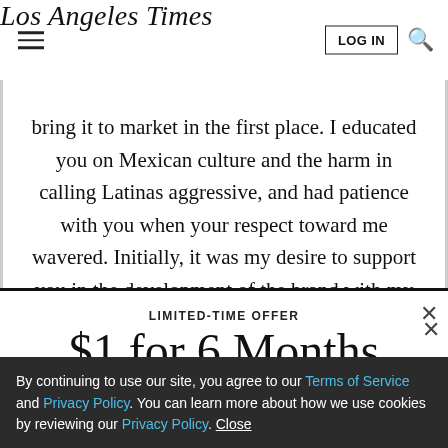Los Angeles Times
bring it to market in the first place. I educated you on Mexican culture and the harm in calling Latinas aggressive, and had patience with you when your respect toward me wavered. Initially, it was my desire to support you in the development of the brand with my expertise in
LIMITED-TIME OFFER
$1 for 6 Months
SUBSCRIBE NOW
By continuing to use our site, you agree to our Terms of Service and Privacy Policy. You can learn more about how we use cookies by reviewing our Privacy Policy. Close